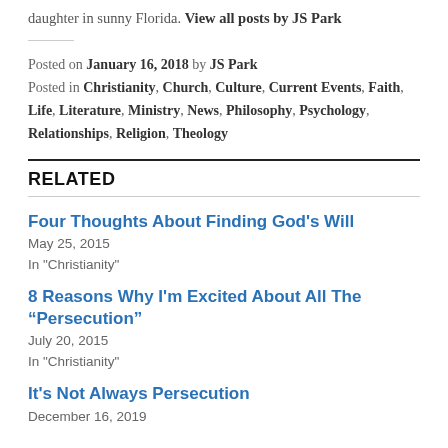daughter in sunny Florida. View all posts by JS Park
Posted on January 16, 2018 by JS Park
Posted in Christianity, Church, Culture, Current Events, Faith, Life, Literature, Ministry, News, Philosophy, Psychology, Relationships, Religion, Theology
RELATED
Four Thoughts About Finding God’s Will
May 25, 2015
In "Christianity"
8 Reasons Why I’m Excited About All The “Persecution”
July 20, 2015
In "Christianity"
It’s Not Always Persecution
December 16, 2019